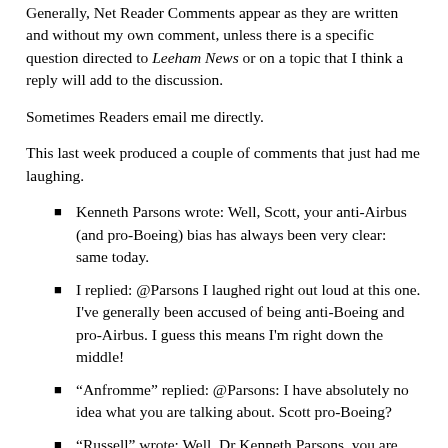Generally, Net Reader Comments appear as they are written and without my own comment, unless there is a specific question directed to Leeham News or on a topic that I think a reply will add to the discussion.
Sometimes Readers email me directly.
This last week produced a couple of comments that just had me laughing.
Kenneth Parsons wrote: Well, Scott, your anti-Airbus (and pro-Boeing) bias has always been very clear: same today.
I replied: @Parsons I laughed right out loud at this one. I've generally been accused of being anti-Boeing and pro-Airbus. I guess this means I'm right down the middle!
“Anfromme” replied: @Parsons: I have absolutely no idea what you are talking about. Scott pro-Boeing?
“Russell” wrote: Well, Dr Kenneth Parsons, you are right to a degree, Leeham News and most of its subscribers,